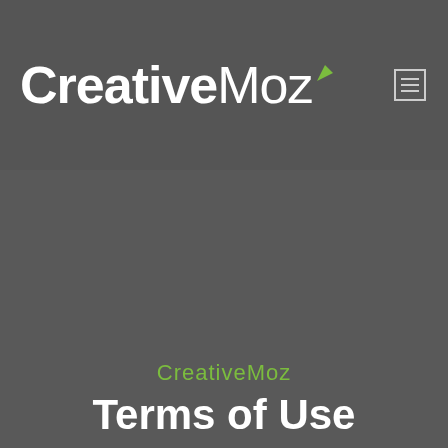CreativeMoz
CreativeMoz
Terms of Use